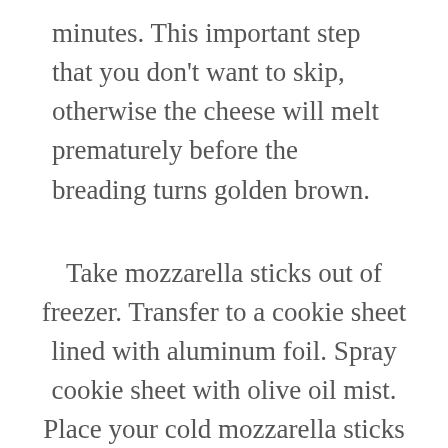minutes. This important step that you don't want to skip, otherwise the cheese will melt prematurely before the breading turns golden brown.
Take mozzarella sticks out of freezer. Transfer to a cookie sheet lined with aluminum foil. Spray cookie sheet with olive oil mist. Place your cold mozzarella sticks onto cookie sheet. Then spray a light mist of olive oil on top of cheese sticks before popping into the oven. I used this hand dandy gadget to spray olive oil on top of my